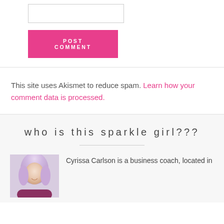[Figure (other): Input text box (form field)]
POST COMMENT
This site uses Akismet to reduce spam. Learn how your comment data is processed.
who is this sparkle girl???
[Figure (photo): Photo of Cyrissa Carlson, a woman with light purple/blonde hair, smiling]
Cyrissa Carlson is a business coach, located in